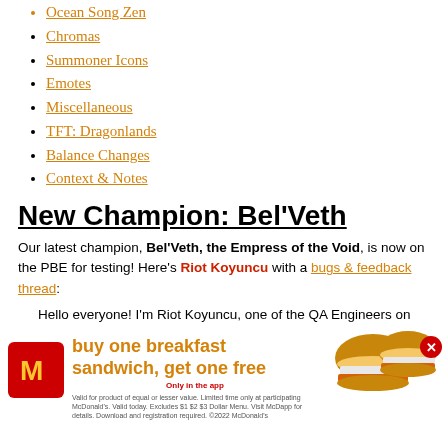Ocean Song Zen
Chromas
Summoner Icons
Emotes
Miscellaneous
TFT: Dragonlands
Balance Changes
Context & Notes
New Champion: Bel'Veth
Our latest champion, Bel'Veth, the Empress of the Void, is now on the PBE for testing! Here's Riot Koyuncu with a bugs & feedback thread:
Hello everyone! I'm Riot Koyuncu, one of the QA Engineers on Champions team and QA owner for Bel'Veth, the Empress of the Void.
Bel'Veth is now currently enabled and ... She's super fun to play, and ... player feedback before she launches in two weeks. We've go...